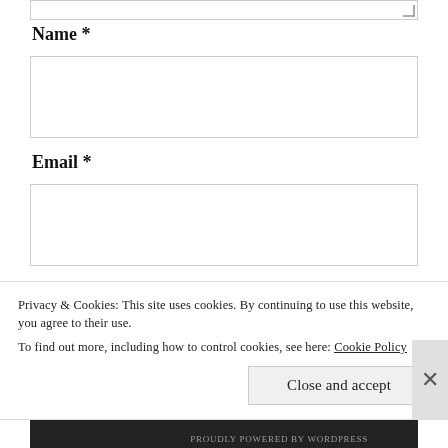[textarea top resize handle]
Name *
[Figure (other): Empty text input box for Name field]
Email *
[Figure (other): Empty text input box for Email field]
Website
[Figure (other): Empty text input box for Website field]
Privacy & Cookies: This site uses cookies. By continuing to use this website, you agree to their use.
To find out more, including how to control cookies, see here: Cookie Policy
Close and accept